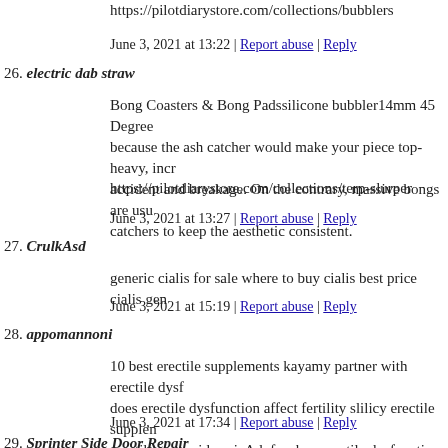https://pilotdiarystore.com/collections/bubblers
June 3, 2021 at 13:22 | Report abuse | Reply
26. electric dab straw
Bong Coasters & Bong Padssilicone bubbler14mm 45 Degree because the ash catcher would make your piece top-heavy, incr accident and breakage. On the contrary, massive bongs are usu catchers to keep the aesthetic consistent.
https://pilotdiarystore.com/collections/terp-slurper
June 3, 2021 at 13:27 | Report abuse | Reply
27. CrulkAsd
generic cialis for sale where to buy cialis best price cialis gen
June 3, 2021 at 15:19 | Report abuse | Reply
28. appomannoni
10 best erectile supplements kayamy partner with erectile dysf does erectile dysfunction affect fertility slilicy erectile supplen erectile wow video sicAdofs when erectile dysfunction meds q
June 3, 2021 at 17:34 | Report abuse | Reply
29. Sprinter Side Door Repair